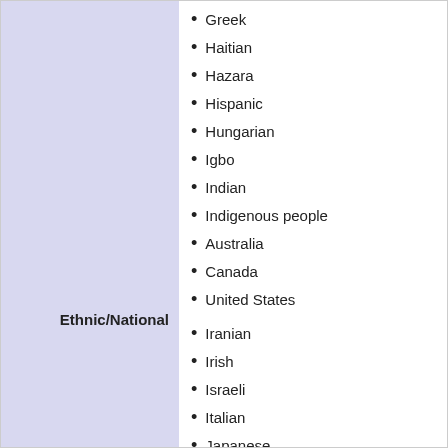Greek
Haitian
Hazara
Hispanic
Hungarian
Igbo
Indian
Indigenous people
Australia
Ethnic/National
Canada
United States
Iranian
Irish
Israeli
Italian
Japanese
Jewish